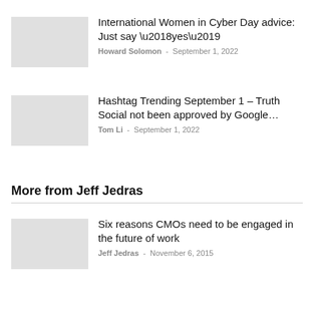International Women in Cyber Day advice: Just say ‘yes’
Howard Solomon – September 1, 2022
Hashtag Trending September 1 – Truth Social not been approved by Google…
Tom Li – September 1, 2022
More from Jeff Jedras
Six reasons CMOs need to be engaged in the future of work
Jeff Jedras – November 6, 2015